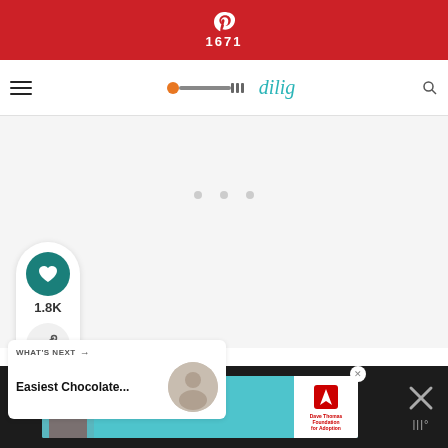[Figure (screenshot): Pinterest share button bar with count 1671 on red background]
[Figure (screenshot): Website navigation bar with hamburger menu, rolling pin graphic and cursive blog title]
[Figure (screenshot): White/grey content area with three loading dots]
[Figure (screenshot): Social sidebar with heart/like button showing 1.8K and share button]
1.8K
[Figure (screenshot): What's Next panel with text 'Easiest Chocolate...' and circular thumbnail]
WHAT'S NEXT → Easiest Chocolate...
[Figure (screenshot): Advertisement banner: I just wanted a family. — Conner, adopted at 12. Dave Thomas Foundation for Adoption.]
I just wanted a family. — Conner, adopted at 12
Dave Thomas Foundation for Adoption